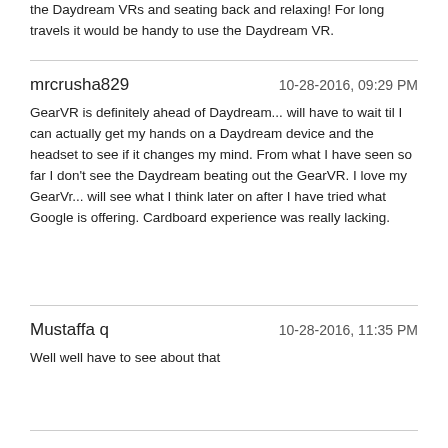the Daydream VRs and seating back and relaxing! For long travels it would be handy to use the Daydream VR.
mrcrusha829
10-28-2016, 09:29 PM
GearVR is definitely ahead of Daydream... will have to wait til I can actually get my hands on a Daydream device and the headset to see if it changes my mind. From what I have seen so far I don't see the Daydream beating out the GearVR. I love my GearVr... will see what I think later on after I have tried what Google is offering. Cardboard experience was really lacking.
Mustaffa q
10-28-2016, 11:35 PM
Well well have to see about that